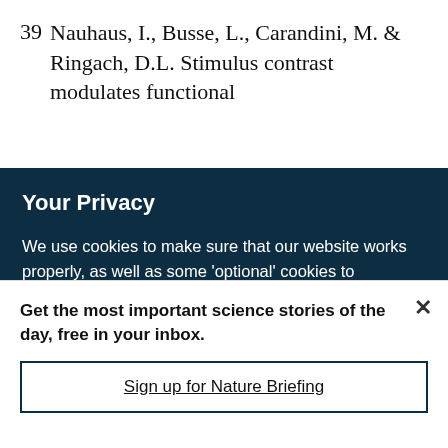39  Nauhaus, I., Busse, L., Carandini, M. & Ringach, D.L. Stimulus contrast modulates functional connectivity in visual cortex. Nat. Neurosci. 12,
Your Privacy
We use cookies to make sure that our website works properly, as well as some 'optional' cookies to personalise content and advertising, provide social media features and analyse how people use our site. By accepting some or all optional cookies you give consent to the processing of your personal data, including transfer to third parties, some in countries outside of the European Economic Area that do not offer the same data protection standards as the country where you live. You can decide which optional cookies to accept by clicking on 'Manage Settings', where you can
Get the most important science stories of the day, free in your inbox.
Sign up for Nature Briefing